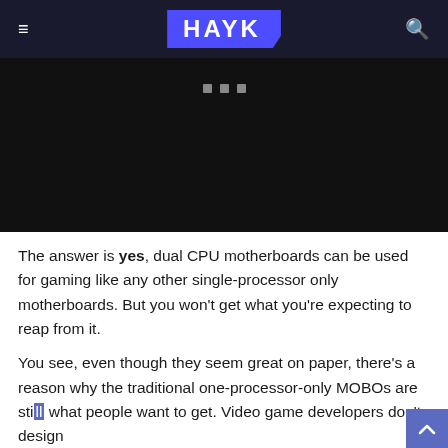HAYK
[Figure (photo): Dark/black hero image area with three small gray square dots near the top center, serving as a carousel or slideshow indicator.]
The answer is yes, dual CPU motherboards can be used for gaming like any other single-processor only motherboards. But you won't get what you're expecting to reap from it.
You see, even though they seem great on paper, there's a reason why the traditional one-processor-only MOBOs are still what people want to get. Video game developers don't design